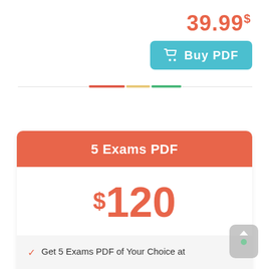39.99$
[Figure (other): Buy PDF button with shopping cart icon, teal/cyan rounded rectangle]
[Figure (other): Horizontal divider with colored segments: red, tan/beige, green]
5 Exams PDF
$120
✓  Get 5 Exams PDF of Your Choice at DISCOUNT Price